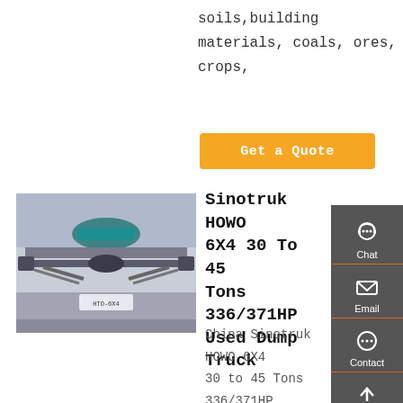soils,building materials, coals, ores, crops,
[Figure (other): Orange 'Get a Quote' button]
[Figure (photo): Undercarriage/axle view of a dump truck (HOWO) showing rear axle and drivetrain components]
Sinotruk HOWO 6X4 30 To 45 Tons 336/371HP Used Dump Truck
China Sinotruk HOWO 6X4 30 to 45 Tons 336/371HP Used Dump Truck Tipper Trucks, Find details about China Used Dump
[Figure (infographic): Sidebar with Chat, Email, Contact, and Top navigation icons on dark grey background]